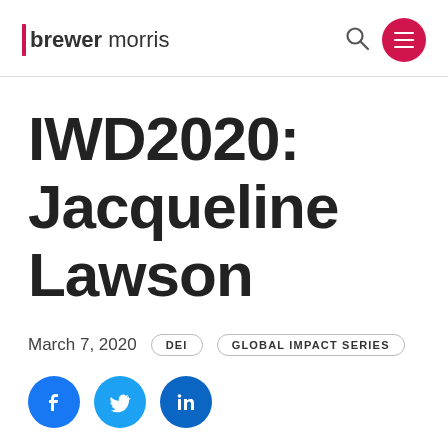brewer morris
IWD2020: Jacqueline Lawson
March 7, 2020   DEI   GLOBAL IMPACT SERIES
[Figure (other): Social share buttons: Facebook, Twitter, LinkedIn]